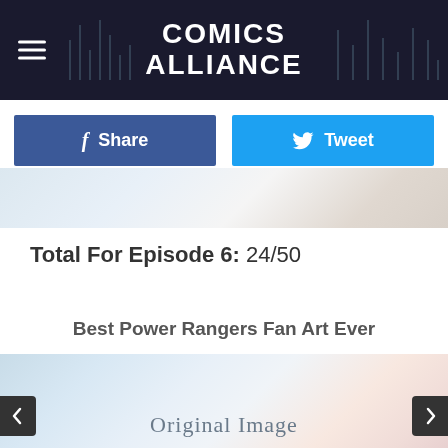COMICS ALLIANCE
Share
Tweet
[Figure (photo): Abstract light blue and beige geometric background image strip]
Total For Episode 6: 24/50
Best Power Rangers Fan Art Ever
[Figure (photo): Abstract light blue and pink geometric background image with Original Image text overlay]